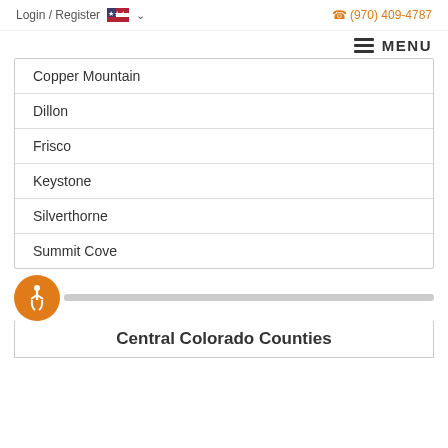Login / Register  (970) 409-4787
Copper Mountain
Dillon
Frisco
Keystone
Silverthorne
Summit Cove
Central Colorado Counties